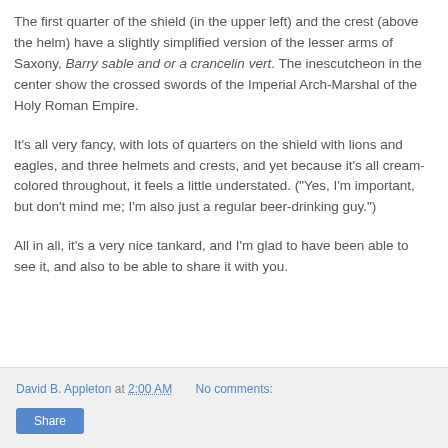The first quarter of the shield (in the upper left) and the crest (above the helm) have a slightly simplified version of the lesser arms of Saxony, Barry sable and or a crancelin vert. The inescutcheon in the center show the crossed swords of the Imperial Arch-Marshal of the Holy Roman Empire.
It's all very fancy, with lots of quarters on the shield with lions and eagles, and three helmets and crests, and yet because it's all cream-colored throughout, it feels a little understated. ("Yes, I'm important, but don't mind me; I'm also just a regular beer-drinking guy.")
All in all, it's a very nice tankard, and I'm glad to have been able to see it, and also to be able to share it with you.
David B. Appleton at 2:00 AM   No comments:   Share